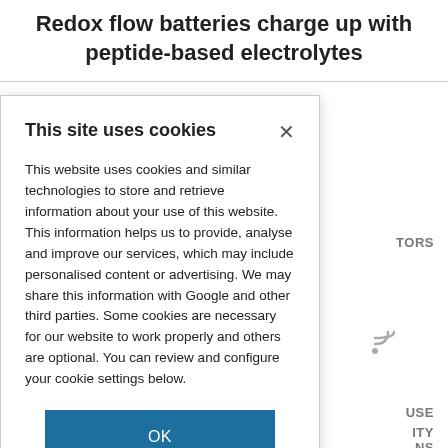Redox flow batteries charge up with peptide-based electrolytes
This site uses cookies

This website uses cookies and similar technologies to store and retrieve information about your use of this website. This information helps us to provide, analyse and improve our services, which may include personalised content or advertising. We may share this information with Google and other third parties. Some cookies are necessary for our website to work properly and others are optional. You can review and configure your cookie settings below.

OK

COOKIE SETTINGS